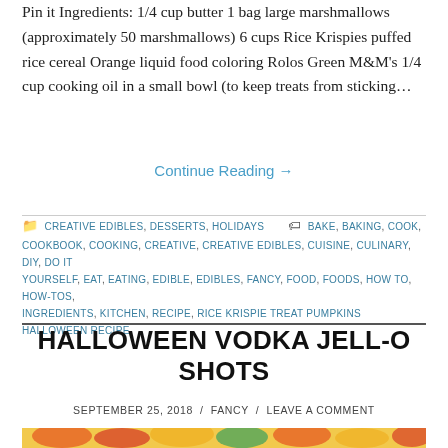Pin it Ingredients: 1/4 cup butter 1 bag large marshmallows (approximately 50 marshmallows) 6 cups Rice Krispies puffed rice cereal Orange liquid food coloring Rolos Green M&M's 1/4 cup cooking oil in a small bowl (to keep treats from sticking…
Continue Reading →
CREATIVE EDIBLES, DESSERTS, HOLIDAYS | BAKE, BAKING, COOK, COOKBOOK, COOKING, CREATIVE, CREATIVE EDIBLES, CUISINE, CULINARY, DIY, DO IT YOURSELF, EAT, EATING, EDIBLE, EDIBLES, FANCY, FOOD, FOODS, HOW TO, HOW-TOS, INGREDIENTS, KITCHEN, RECIPE, RICE KRISPIE TREAT PUMPKINS HALLOWEEN RECIPE
HALLOWEEN VODKA JELL-O SHOTS
SEPTEMBER 25, 2018 / FANCY / LEAVE A COMMENT
[Figure (photo): Colorful Halloween Jell-O shots in small cups, featuring orange, red, yellow, and green colors, arranged on a surface]